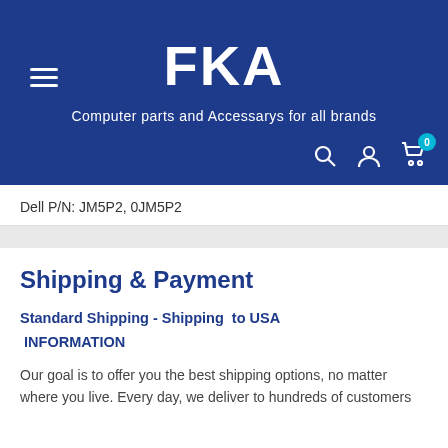[Figure (logo): FKA store header with dark blue background, hamburger menu icon, FKA logo text in white, tagline 'Computer parts and Accessarys for all brands', and icons for search, user account, and shopping cart with badge showing 0]
Dell P/N: JM5P2, 0JM5P2
Shipping & Payment
Standard Shipping - Shipping  to USA
INFORMATION
Our goal is to offer you the best shipping options, no matter where you live. Every day, we deliver to hundreds of customers